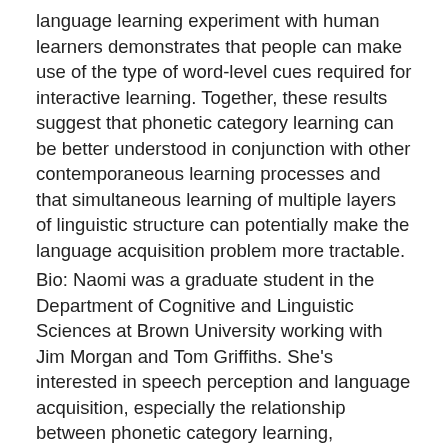language learning experiment with human learners demonstrates that people can make use of the type of word-level cues required for interactive learning. Together, these results suggest that phonetic category learning can be better understood in conjunction with other contemporaneous learning processes and that simultaneous learning of multiple layers of linguistic structure can potentially make the language acquisition problem more tractable.
Bio: Naomi was a graduate student in the Department of Cognitive and Linguistic Sciences at Brown University working with Jim Morgan and Tom Griffiths. She's interested in speech perception and language acquisition, especially the relationship between phonetic category learning, phonological development, and perceptual changes during infancy. In January 2011, she became an assistant professor in the Department of Linguistics at the University of Maryland.